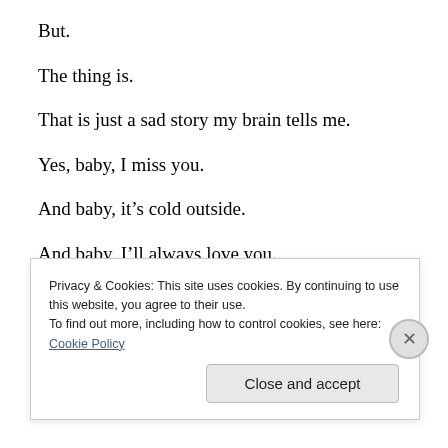But.
The thing is.
That is just a sad story my brain tells me.
Yes, baby, I miss you.
And baby, it’s cold outside.
And baby, I’ll always love you.
But baby, it’s...
Privacy & Cookies: This site uses cookies. By continuing to use this website, you agree to their use.
To find out more, including how to control cookies, see here: Cookie Policy
Close and accept